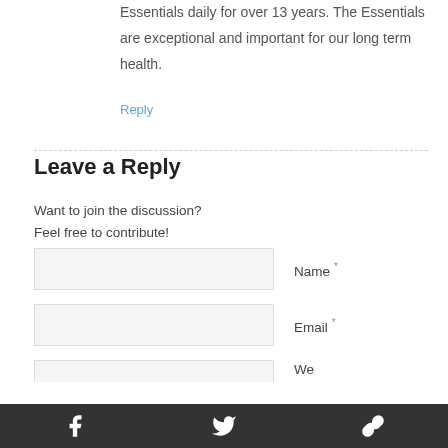Essentials daily for over 13 years. The Essentials are exceptional and important for our long term health.
Reply
Leave a Reply
Want to join the discussion?
Feel free to contribute!
Name *
Email *
Website